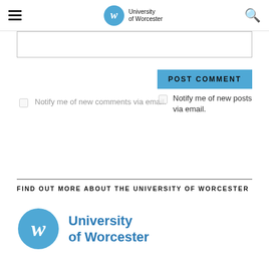University of Worcester (navigation bar with hamburger menu and search icon)
POST COMMENT
Notify me of new comments via email.
Notify me of new posts via email.
FIND OUT MORE ABOUT THE UNIVERSITY OF WORCESTER
[Figure (logo): University of Worcester logo with blue circular 'w' emblem and text 'University of Worcester']